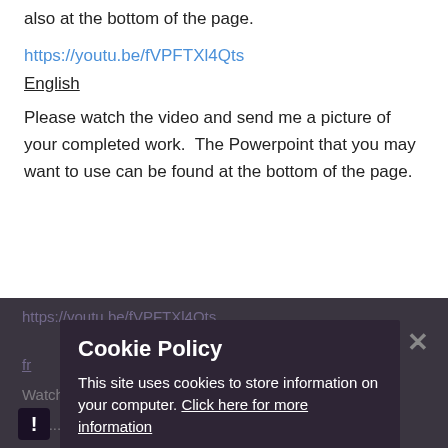also at the bottom of the page.
https://youtu.be/fVPFTXl4Qts
English
Please watch the video and send me a picture of your completed work.  The Powerpoint that you may want to use can be found at the bottom of the page.
Cookie Policy
This site uses cookies to store information on your computer. Click here for more information
Allow Cookies
Deny Cookies